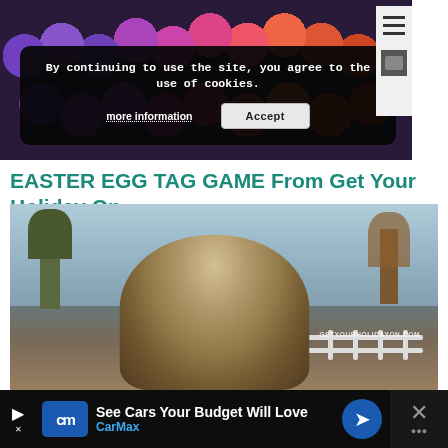[Figure (photo): Colorful Easter eggs in purple, pink, red, and orange colors arranged together]
By continuing to use the site, you agree to the use of cookies.
more information   Accept
EASTER EGG TAG GAME From Get Your Holiday On
[Figure (photo): Back of a woman's head with highlighted blonde hair, outdoor background with trees and white fence, watermark GETYOURHOLIDAYON.COM]
[Figure (screenshot): Advertisement banner: See Cars Your Budget Will Love - CarMax]